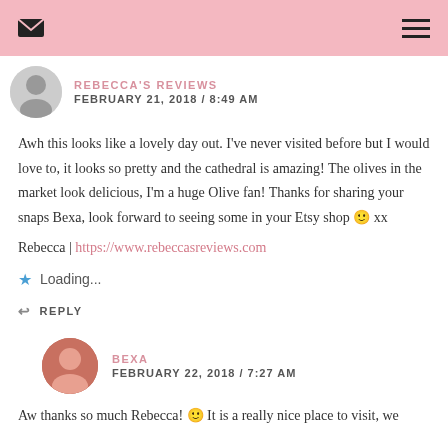REBECCA'S REVIEWS — navigation bar with envelope and hamburger icons
REBECCA'S REVIEWS
FEBRUARY 21, 2018 / 8:49 AM
Awh this looks like a lovely day out. I've never visited before but I would love to, it looks so pretty and the cathedral is amazing! The olives in the market look delicious, I'm a huge Olive fan! Thanks for sharing your snaps Bexa, look forward to seeing some in your Etsy shop 🙂 xx
Rebecca | https://www.rebeccasreviews.com
⭐ Loading...
↩ REPLY
BEXA
FEBRUARY 22, 2018 / 7:27 AM
Aw thanks so much Rebecca! 🙂 It is a really nice place to visit, we definitely recommend it, hope you get to go one day especially the cathedral!